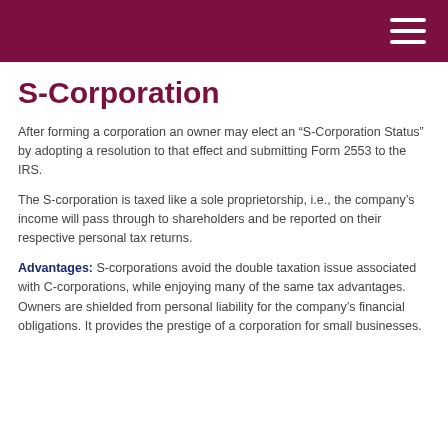S-Corporation
After forming a corporation an owner may elect an “S-Corporation Status” by adopting a resolution to that effect and submitting Form 2553 to the IRS.
The S-corporation is taxed like a sole proprietorship, i.e., the company’s income will pass through to shareholders and be reported on their respective personal tax returns.
Advantages: S-corporations avoid the double taxation issue associated with C-corporations, while enjoying many of the same tax advantages. Owners are shielded from personal liability for the company’s financial obligations. It provides the prestige of a corporation for small businesses.